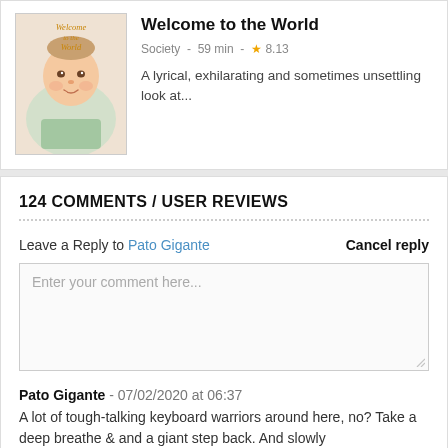[Figure (photo): Book/DVD cover image: 'Welcome to the World' showing a baby lying down with text overlay]
Welcome to the World
Society - 59 min - ★ 8.13
A lyrical, exhilarating and sometimes unsettling look at...
124 COMMENTS / USER REVIEWS
Leave a Reply to Pato Gigante   Cancel reply
Enter your comment here...
Pato Gigante - 07/02/2020 at 06:37
A lot of tough-talking keyboard warriors around here, no? Take a deep breathe & and a giant step back. And slowly